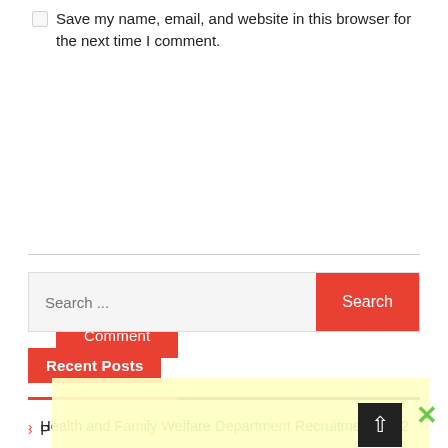Save my name, email, and website in this browser for the next time I comment.
Post Comment
Search ...
Recent Posts
Health and Family Welfare Department Recruitment 2022
P
P
W